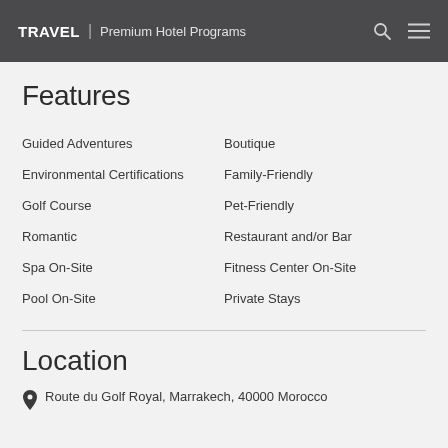TRAVEL | Premium Hotel Programs
Features
Guided Adventures
Boutique
Environmental Certifications
Family-Friendly
Golf Course
Pet-Friendly
Romantic
Restaurant and/or Bar
Spa On-Site
Fitness Center On-Site
Pool On-Site
Private Stays
Location
Route du Golf Royal, Marrakech, 40000 Morocco